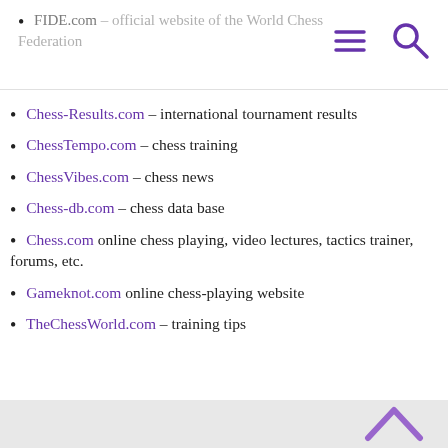FIDE.com – official website of the World Chess Federation
Chess-Results.com – international tournament results
ChessTempo.com – chess training
ChessVibes.com – chess news
Chess-db.com – chess data base
Chess.com online chess playing, video lectures, tactics trainer, forums, etc.
Gameknot.com online chess-playing website
TheChessWorld.com – training tips